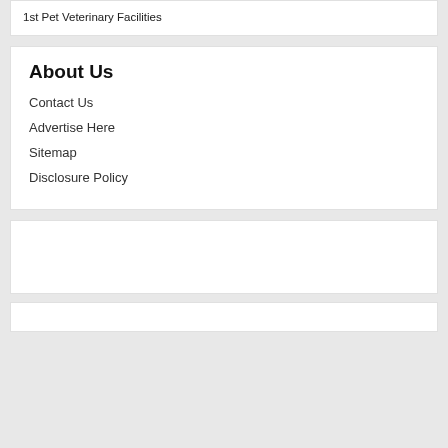1st Pet Veterinary Facilities
About Us
Contact Us
Advertise Here
Sitemap
Disclosure Policy